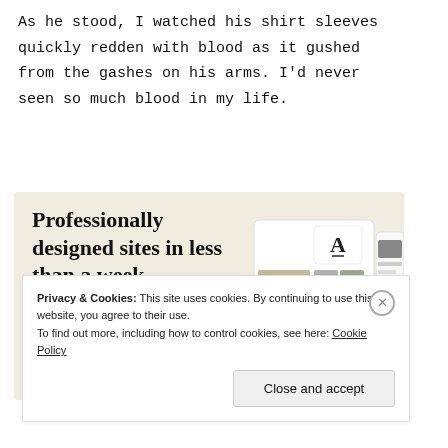As he stood, I watched his shirt sleeves quickly redden with blood as it gushed from the gashes on his arms. I’d never seen so much blood in my life.
[Figure (screenshot): Web advertisement with beige background showing text 'Professionally designed sites in less than a week', a green 'Explore options' button, and a screenshot of a website mockup on the right side.]
Privacy & Cookies: This site uses cookies. By continuing to use this website, you agree to their use.
To find out more, including how to control cookies, see here: Cookie Policy
Close and accept